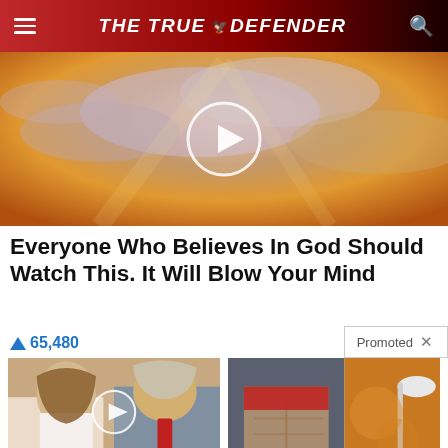THE TRUE DEFENDER
[Figure (photo): Video thumbnail showing dramatic sky with clouds and golden light, with a circular play button overlay]
Everyone Who Believes In God Should Watch This. It Will Blow Your Mind
▲ 65,480
Promoted ×
[Figure (photo): Thumbnail of two people (woman and man in suit with red tie), with a circular play button overlay]
AOC Wants This Video Destroyed — Watch Now Before It's Banned
🔥 651,249
[Figure (photo): Thumbnail of a fit person's midsection and a spoon with spice/powder]
Just 1 Teaspoon Burns Belly Fat Like Crazy!
🔥 9,212